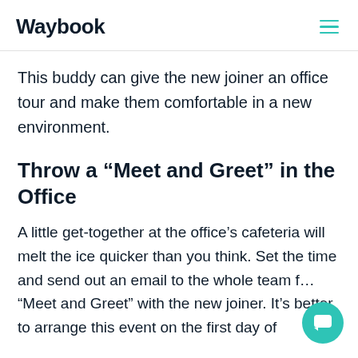Waybook
This buddy can give the new joiner an office tour and make them comfortable in a new environment.
Throw a “Meet and Greet” in the Office
A little get-together at the office’s cafeteria will melt the ice quicker than you think. Set the time and send out an email to the whole team for a “Meet and Greet” with the new joiner. It’s better to arrange this event on the first day of